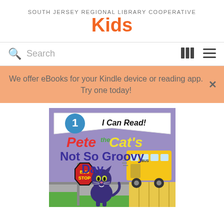SOUTH JERSEY REGIONAL LIBRARY COOPERATIVE
Kids
Search
We offer eBooks for your Kindle device or reading app. Try one today!
[Figure (photo): Book cover of 'Pete the Cat's Not So Groovy Day' - I Can Read Level 1 book, showing Pete the Cat character at a bus stop with a yellow school bus in the background]